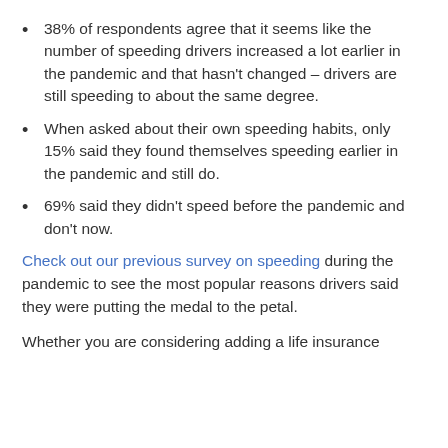38% of respondents agree that it seems like the number of speeding drivers increased a lot earlier in the pandemic and that hasn't changed – drivers are still speeding to about the same degree.
When asked about their own speeding habits, only 15% said they found themselves speeding earlier in the pandemic and still do.
69% said they didn't speed before the pandemic and don't now.
Check out our previous survey on speeding during the pandemic to see the most popular reasons drivers said they were putting the medal to the petal.
Whether you are considering adding a life insurance